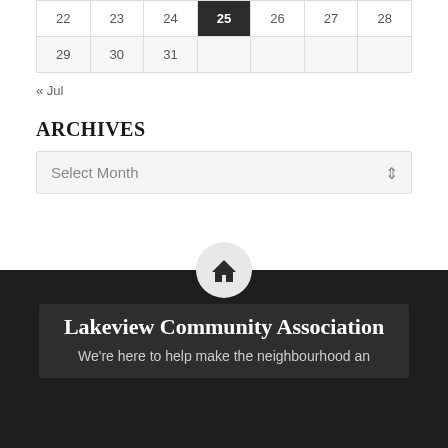| 22 | 23 | 24 | 25 | 26 | 27 | 28 |
| 29 | 30 | 31 |  |  |  |  |
« Jul
ARCHIVES
Select Month
Lakeview Community Association
We're here to help make the neighbourhood an